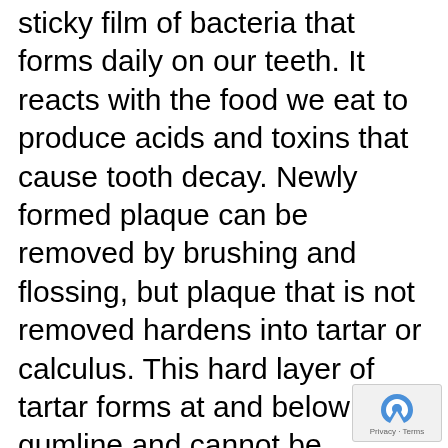sticky film of bacteria that forms daily on our teeth. It reacts with the food we eat to produce acids and toxins that cause tooth decay. Newly formed plaque can be removed by brushing and flossing, but plaque that is not removed hardens into tartar or calculus. This hard layer of tartar forms at and below the gumline and cannot be removed by brushing. Tartar and plaque combine to accelerate tooth decay and irritate gums. The resulting inflammation and infection of the gums is called gingivitis. Untreated gingivitis creates pockets of plaque, tartar and bacteria between your teeth and gums. This spreads infection below the gums, eventually causing bone and tissue loss. This condition, known as periodontitis, is the biggest cause of adult tooth loss.
[Figure (logo): reCAPTCHA logo watermark with Privacy and Terms text]